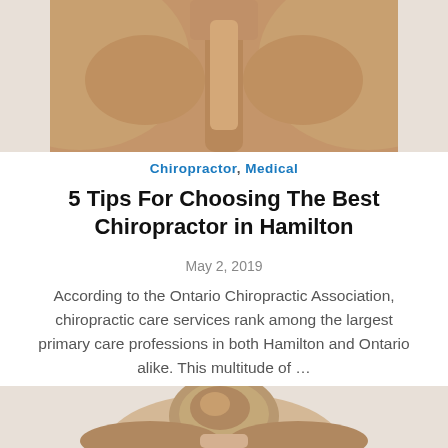[Figure (photo): Photo showing a person's bare back, cropped at shoulders, viewed from behind]
Chiropractor, Medical
5 Tips For Choosing The Best Chiropractor in Hamilton
May 2, 2019
According to the Ontario Chiropractic Association, chiropractic care services rank among the largest primary care professions in both Hamilton and Ontario alike. This multitude of …
[Figure (photo): Photo showing a woman with her hair up in a bun, viewed from behind, partial crop]